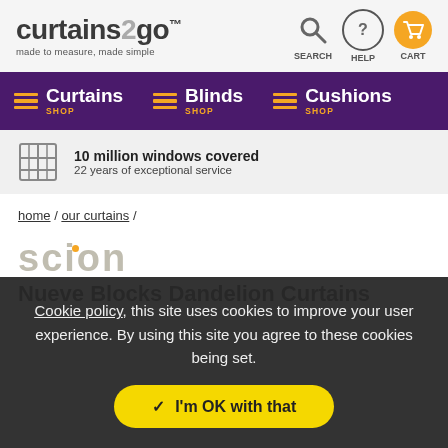[Figure (logo): curtains2go logo with tagline 'made to measure, made simple' and header icons for SEARCH, HELP, CART]
SHOP Curtains  SHOP Blinds  SHOP Cushions
10 million windows covered
22 years of exceptional service
home / our curtains /
[Figure (logo): Scion brand logo in grey with orange dot]
Nueve Blocks Dandelion Curtains
Cookie policy, this site uses cookies to improve your user experience. By using this site you agree to these cookies being set.